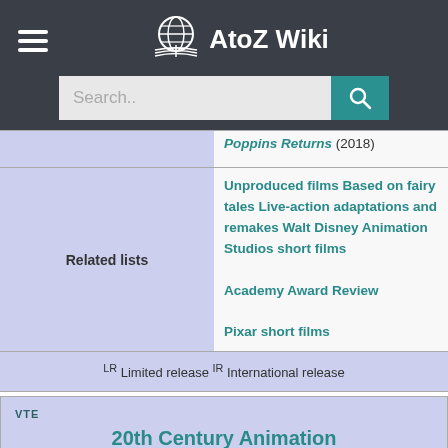AtoZ Wiki
Poppins Returns (2018)
| Related lists | Links |
| --- | --- |
| Related lists | Unproduced films Based on fairy tales Live-action adaptations and remakes Walt Disney Animation Studios short films
Academy Award Review
Pixar short films |
LR Limited release IR International release
20th Century Animation
A subsidiary of Walt Disney Studios, a division of The Walt